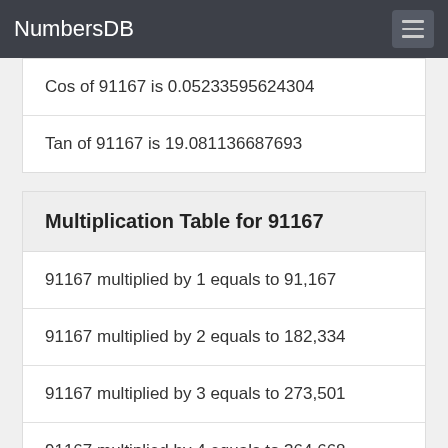NumbersDB
Cos of 91167 is 0.05233595624304
Tan of 91167 is 19.081136687693
Multiplication Table for 91167
91167 multiplied by 1 equals to 91,167
91167 multiplied by 2 equals to 182,334
91167 multiplied by 3 equals to 273,501
91167 multiplied by 4 equals to 364,668
91167 multiplied by 5 equals to 455,835